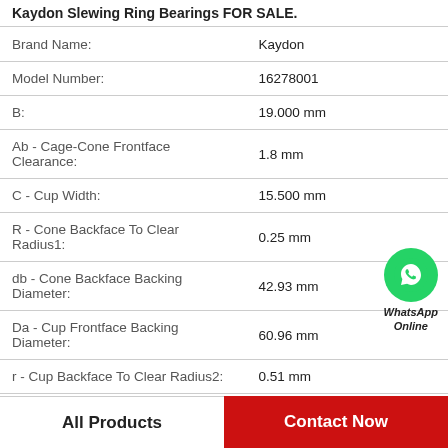Kaydon Slewing Ring Bearings FOR SALE.
| Property | Value |
| --- | --- |
| Brand Name: | Kaydon |
| Model Number: | 16278001 |
| B: | 19.000 mm |
| Ab - Cage-Cone Frontface Clearance: | 1.8 mm |
| C - Cup Width: | 15.500 mm |
| R - Cone Backface To Clear Radius1: | 0.25 mm |
| db - Cone Backface Backing Diameter: | 42.93 mm |
| Da - Cup Frontface Backing Diameter: | 60.96 mm |
| r - Cup Backface To Clear Radius2: | 0.51 mm |
[Figure (logo): WhatsApp green circle icon with phone symbol and text 'WhatsApp Online']
All Products    Contact Now